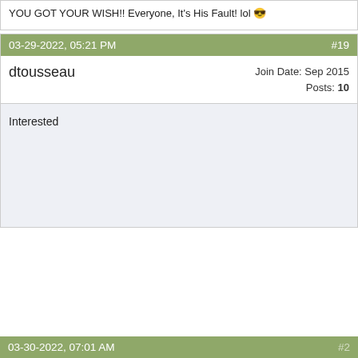YOU GOT YOUR WISH!! Everyone, It's His Fault! lol 😎
03-29-2022, 05:21 PM  #19
dtousseau
Join Date: Sep 2015
Posts: 10
Interested
03-30-2022, 07:01 AM  #20